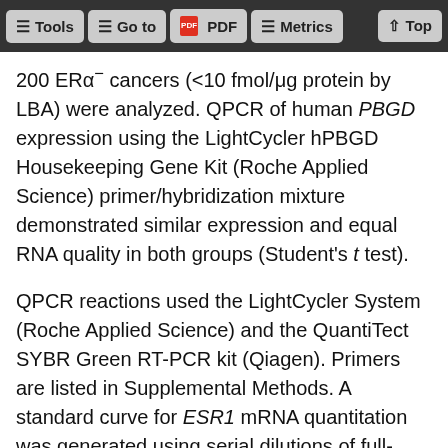Tools | Go to | PDF | Metrics | Top
200 ERα− cancers (<10 fmol/μg protein by LBA) were analyzed. QPCR of human PBGD expression using the LightCycler hPBGD Housekeeping Gene Kit (Roche Applied Science) primer/hybridization mixture demonstrated similar expression and equal RNA quality in both groups (Student's t test).
QPCR reactions used the LightCycler System (Roche Applied Science) and the QuantiTect SYBR Green RT-PCR kit (Qiagen). Primers are listed in Supplemental Methods. A standard curve for ESR1 mRNA quantitation was generated using serial dilutions of full-length human ERα cDNA plasmid PCMV5hER-α (provided by B. Katzenellenbogen, University of Illinois, Urbana, Illinois, USA). MCF-7 ESR1 mRNA was quantitated using the PCMV5hER-